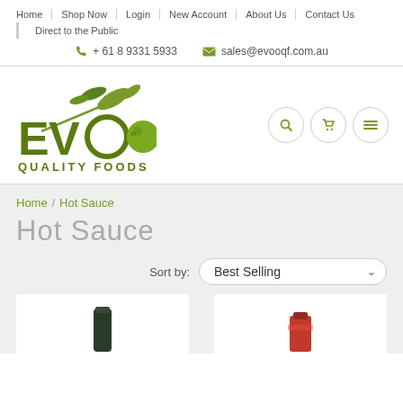Home | Shop Now | Login | New Account | About Us | Contact Us
Direct to the Public
+ 61 8 9331 5933   sales@evooqf.com.au
[Figure (logo): EVOO Quality Foods logo with olive branch and green olive graphic above bold green text EVOO QUALITY FOODS]
Home / Hot Sauce
Hot Sauce
Sort by: Best Selling
[Figure (photo): Two product cards partially visible at bottom — dark jar on left card, red product on right card]